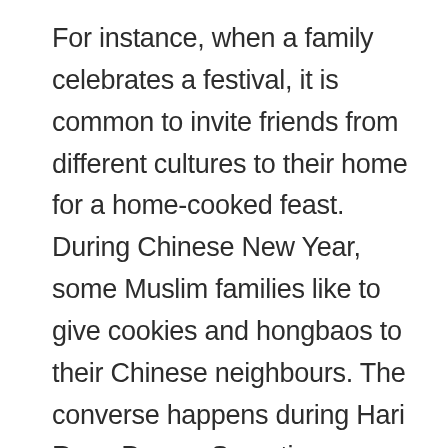For instance, when a family celebrates a festival, it is common to invite friends from different cultures to their home for a home-cooked feast. During Chinese New Year, some Muslim families like to give cookies and hongbaos to their Chinese neighbours. The converse happens during Hari Raya Puasa. Sometimes, different ethnic groups even enjoy the same food during the festivities, such as kueh bahulu, pineapple tarts, and love letters.
People from all walks of life are drawn to the food and cultural sights at festival bazaars too,